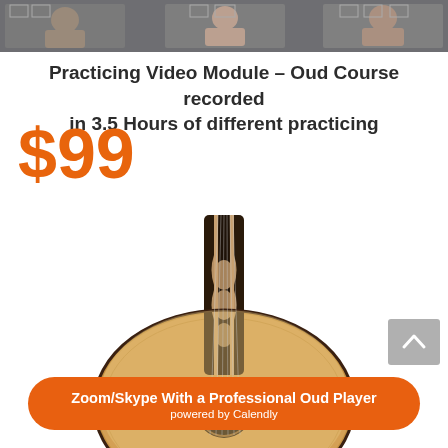[Figure (photo): Screenshot of a video call/class with multiple people visible in frames, dark background]
Practicing Video Module – Oud Course recorded in 3.5 Hours of different practicing
$99
[Figure (photo): Photo of an oud instrument showing the neck and ornate body from above]
Zoom/Skype With a Professional Oud Player
powered by Calendly